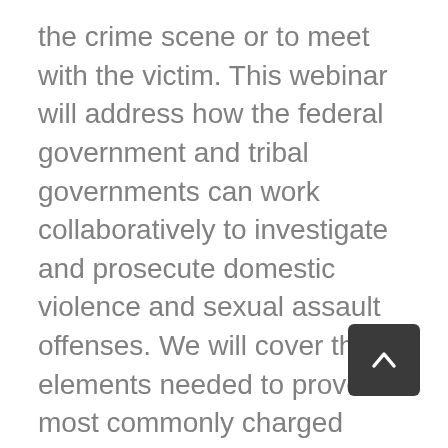the crime scene or to meet with the victim. This webinar will address how the federal government and tribal governments can work collaboratively to investigate and prosecute domestic violence and sexual assault offenses. We will cover the elements needed to prove the most commonly charged assault crimes in Indian country, special federal evidentiary rules that apply in sexual assault cases, and laws in the federal system that protect victims of domestic violence and sexual assault.